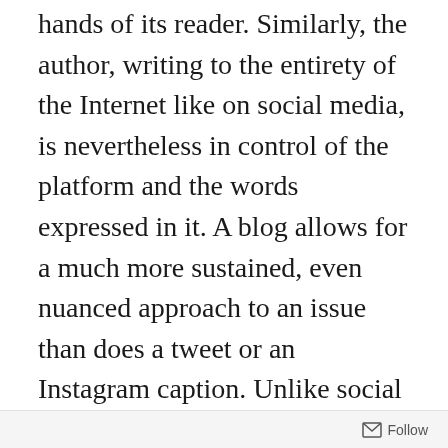hands of its reader. Similarly, the author, writing to the entirety of the Internet like on social media, is nevertheless in control of the platform and the words expressed in it. A blog allows for a much more sustained, even nuanced approach to an issue than does a tweet or an Instagram caption. Unlike social media, which was designed to foster human connection, a blog cultivates literary connection. It, too, lives in the realm of hyperlinks, drawing an ever-more-intricate web between ideas and writings, but it is also a home for the thoughts of its author. It is akin to a physical journal intimately relayed across the vast Internet, a phenomenon that creates a personal space for the reader through the
Follow